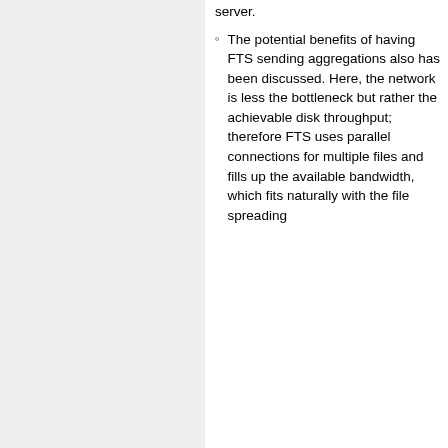server.
The potential benefits of having FTS sending aggregations also has been discussed. Here, the network is less the bottleneck but rather the achievable disk throughput; therefore FTS uses parallel connections for multiple files and fills up the available bandwidth, which fits naturally with the file spreading